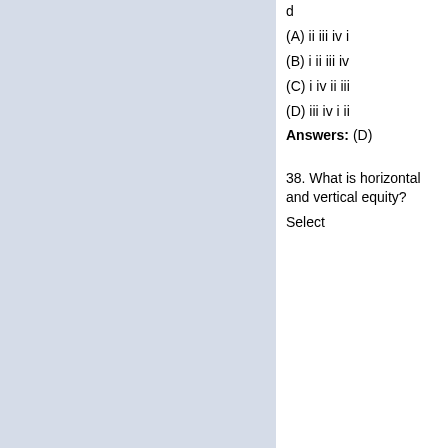d
(A) ii iii iv i
(B) i ii iii iv
(C) i iv ii iii
(D) iii iv i ii
Answers: (D)
38. What is horizontal and vertical equity?
Select the right answer